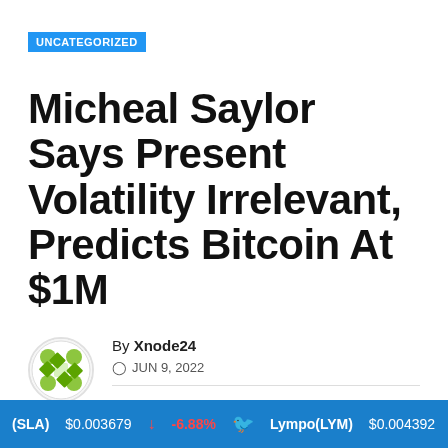UNCATEGORIZED
Micheal Saylor Says Present Volatility Irrelevant, Predicts Bitcoin At $1M
By Xnode24
JUN 9, 2022
(SLA) $0.003679 -6.88% Lympo(LYM) $0.004392 -4.43%